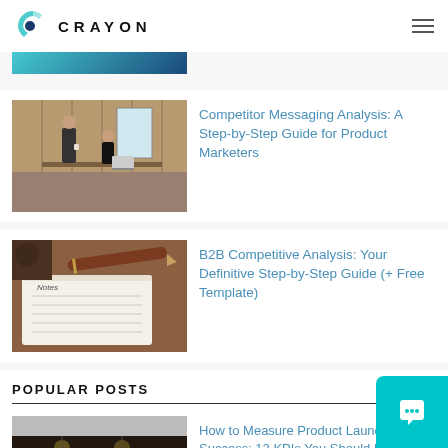CRAYON
[Figure (photo): Partial view of a blue-teal banner/image at the top of the article list]
[Figure (photo): Two people working together in a wood-paneled office workspace]
Competitor Messaging Analysis: A Step-by-Step Guide for Product Marketers
[Figure (photo): A pen resting on a notebook labeled Notes on a desk]
B2B Competitive Analysis: Your Definitive Step-by-Step Guide (+ Free Template)
POPULAR POSTS
[Figure (photo): Partial view of a modern office or restaurant interior]
How to Measure Product Launch Success: 12 KPIs You Should Be